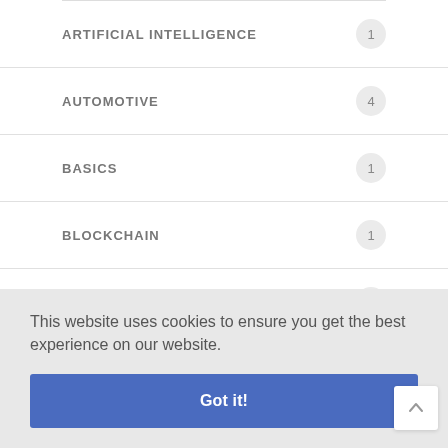ARTIFICIAL INTELLIGENCE   1
AUTOMOTIVE   4
BASICS   1
BLOCKCHAIN   1
CHEMTECH   5
CRYPTOCURRENCIES   1
This website uses cookies to ensure you get the best experience on our website.
Got it!